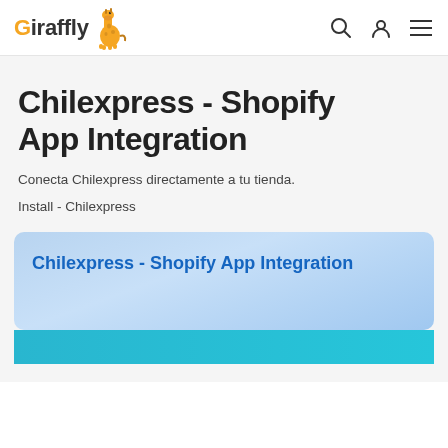[Figure (logo): Giraffly logo with orange G letter, giraffe illustration, and navigation icons (search, user, menu)]
Chilexpress - Shopify App Integration
Conecta Chilexpress directamente a tu tienda.
Install - Chilexpress
[Figure (screenshot): Preview card with light blue gradient background showing 'Chilexpress - Shopify App Integration' title in blue text, and a cyan/teal bottom strip partially visible]